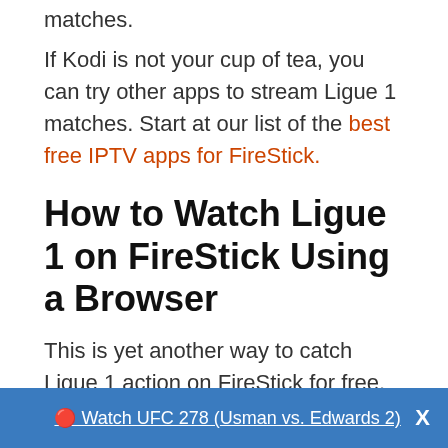matches.
If Kodi is not your cup of tea, you can try other apps to stream Ligue 1 matches. Start at our list of the best free IPTV apps for FireStick.
How to Watch Ligue 1 on FireStick Using a Browser
This is yet another way to catch Ligue 1 action on FireStick for free. All FireStick devices come with the Amazon Silk browser by default. You can use it and browse through free sports streaming websites to watch Ligue 1 matches.
🔴 Watch UFC 278 (Usman vs. Edwards 2)   X